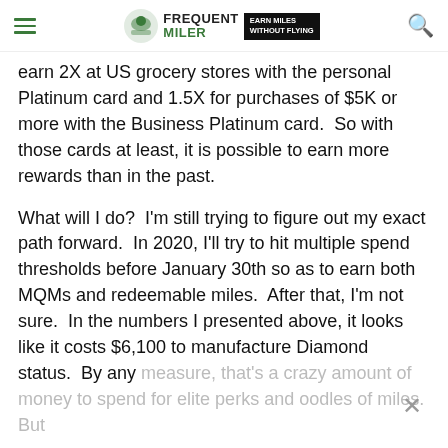FREQUENT MILER | EARN MILES WITHOUT FLYING
earn 2X at US grocery stores with the personal Platinum card and 1.5X for purchases of $5K or more with the Business Platinum card.  So with those cards at least, it is possible to earn more rewards than in the past.
What will I do?  I'm still trying to figure out my exact path forward.  In 2020, I'll try to hit multiple spend thresholds before January 30th so as to earn both MQMs and redeemable miles.  After that, I'm not sure.  In the numbers I presented above, it looks like it costs $6,100 to manufacture Diamond status.  By any measure, that's a crazy amount of money to spend for elite perks and oodles of miles.  But